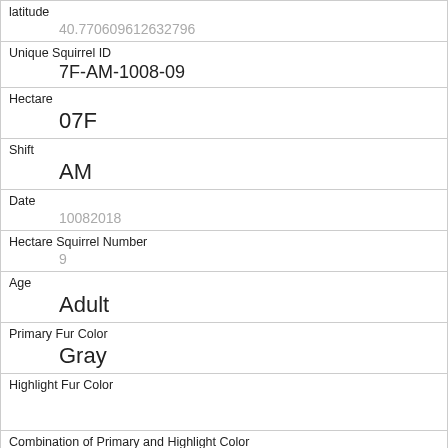| Field | Value |
| --- | --- |
| latitude | 40.770609612632796 |
| Unique Squirrel ID | 7F-AM-1008-09 |
| Hectare | 07F |
| Shift | AM |
| Date | 10082018 |
| Hectare Squirrel Number | 9 |
| Age | Adult |
| Primary Fur Color | Gray |
| Highlight Fur Color |  |
| Combination of Primary and Highlight Color | Gray+ |